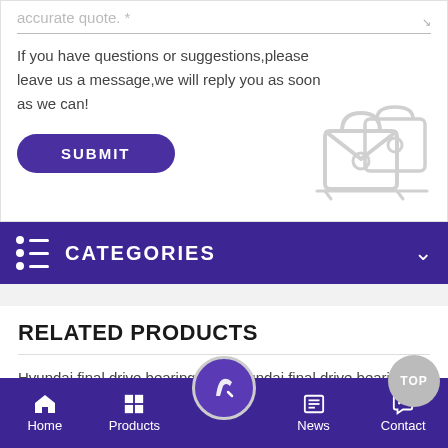accurate quote. *
If you have questions or suggestions,please leave us a message,we will reply you as soon as we can!
SUBMIT
CATEGORIES
RELATED PRODUCTS
Hyundai final drive bearings
Hyundai final drive bearings
Home  Products  News  Contact